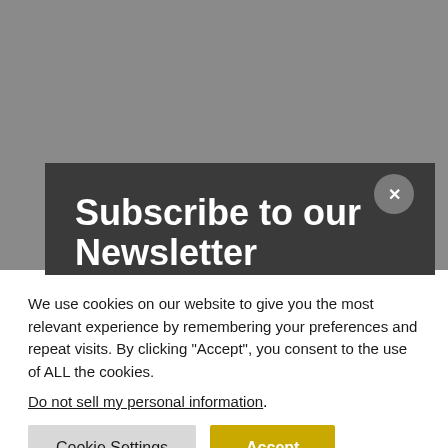Subscribe to our Newsletter
stay up to date on our progress and opportunities-you won't want to miss out!
We use cookies on our website to give you the most relevant experience by remembering your preferences and repeat visits. By clicking “Accept”, you consent to the use of ALL the cookies.
Do not sell my personal information.